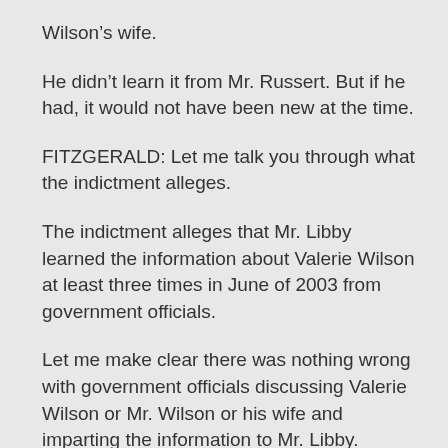Wilson's wife.
He didn't learn it from Mr. Russert. But if he had, it would not have been new at the time.
FITZGERALD: Let me talk you through what the indictment alleges.
The indictment alleges that Mr. Libby learned the information about Valerie Wilson at least three times in June of 2003 from government officials.
Let me make clear there was nothing wrong with government officials discussing Valerie Wilson or Mr. Wilson or his wife and imparting the information to Mr. Libby.
But in early June, Mr. Libby learned about Valerie Wilson and the role she was believed to play in having